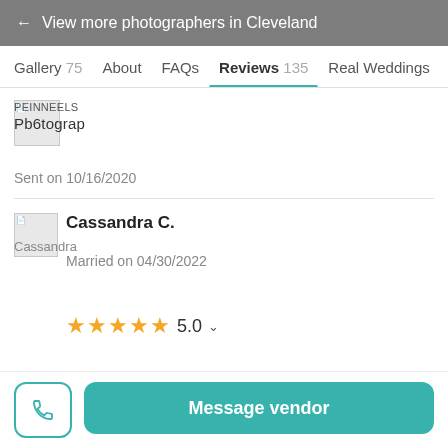← View more photographers in Cleveland
Gallery 75  About  FAQs  Reviews 135  Real Weddings
[Figure (photo): Broken/overlapping vendor logo image with text 'Photograp' visible]
Sent on 10/16/2020
[Figure (photo): Broken reviewer avatar image labeled 'Cassandra']
Cassandra C.
Married on 04/30/2022
★★★★★ 5.0
Message vendor